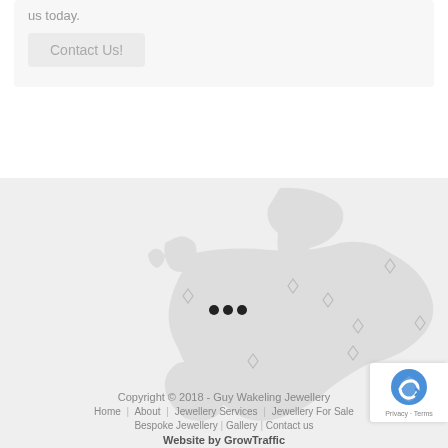us today.
Contact Us!
[Figure (map): Greyscale map of Europe with diamond pin markers at various locations]
Copyright © 2018 - Guy Wakeling Jewellery
Home | About | Jewellery Services | Jewellery For Sale | Bespoke Jewellery | Gallery | Contact us
Website by GrowTraffic